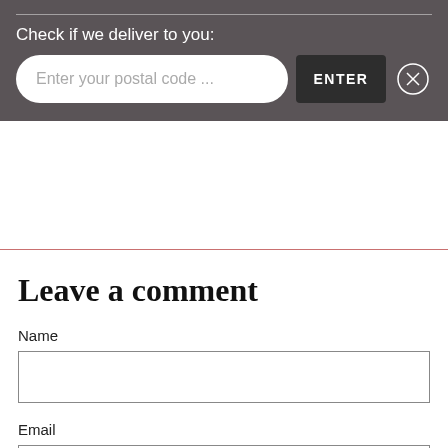Check if we deliver to you:
Enter your postal code ...
ENTER
Leave a comment
Name
Email